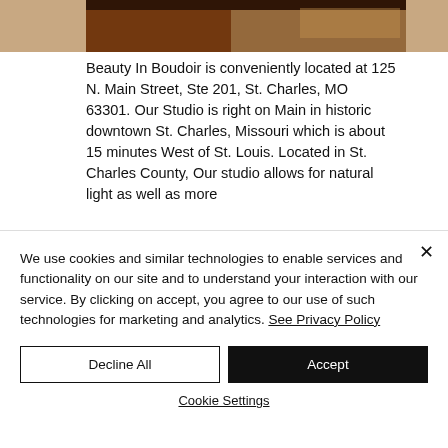[Figure (photo): Partial top strip of a boudoir photo showing warm/brown tones]
Beauty In Boudoir is conveniently located at 125 N. Main Street, Ste 201, St. Charles, MO 63301. Our Studio is right on Main in historic downtown St. Charles, Missouri which is about 15 minutes West of St. Louis. Located in St. Charles County, Our studio allows for natural light as well as more
We use cookies and similar technologies to enable services and functionality on our site and to understand your interaction with our service. By clicking on accept, you agree to our use of such technologies for marketing and analytics. See Privacy Policy
Decline All
Accept
Cookie Settings